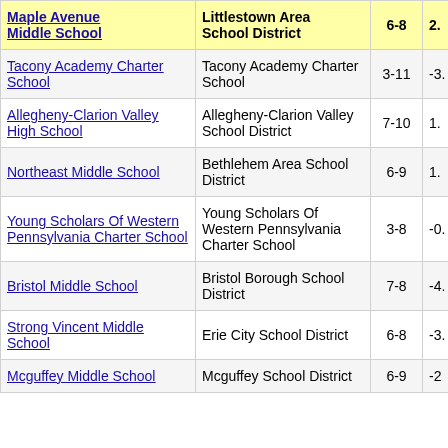| Maple Avenue Middle School | Littlestown Area School District | 6-8 | 2. |
| --- | --- | --- | --- |
| Tacony Academy Charter School | Tacony Academy Charter School | 3-11 | -3. |
| Allegheny-Clarion Valley High School | Allegheny-Clarion Valley School District | 7-10 | 1. |
| Northeast Middle School | Bethlehem Area School District | 6-9 | 1. |
| Young Scholars Of Western Pennsylvania Charter School | Young Scholars Of Western Pennsylvania Charter School | 3-8 | -0. |
| Bristol Middle School | Bristol Borough School District | 7-8 | -4. |
| Strong Vincent Middle School | Erie City School District | 6-8 | -3. |
| Mcguffey Middle School | Mcguffey School District | 6-9 | -2 |